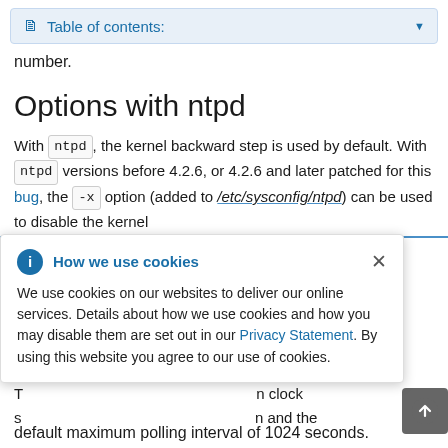Table of contents:
number.
Options with ntpd
With ntpd, the kernel backward step is used by default. With ntpd versions before 4.2.6, or 4.2.6 and later patched for this bug, the -x option (added to /etc/sysconfig/ntpd) can be used to disable the kernel le...econd as far a...nd error g...d and c...n using NTP s...ocks.
[Figure (other): Cookie consent popup overlay: 'How we use cookies' dialog with info icon, close button, body text about cookie use, Privacy Statement link, and accept notice.]
default maximum polling interval of 1024 seconds.